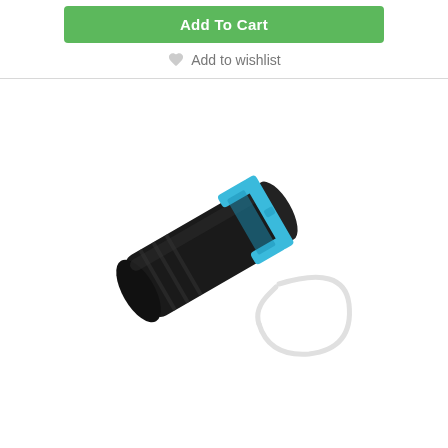Add To Cart
Add to wishlist
[Figure (photo): A black cylindrical flashlight or torch device with a blue plastic clip/bracket attached near one end, and a white loop cord/lanyard attached to the blue clip. The device is photographed at an angle on a white background.]